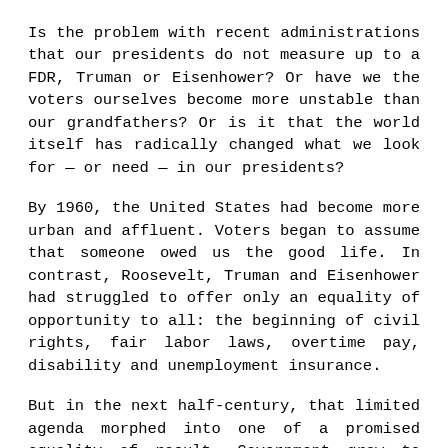Is the problem with recent administrations that our presidents do not measure up to a FDR, Truman or Eisenhower? Or have we the voters ourselves become more unstable than our grandfathers? Or is it that the world itself has radically changed what we look for — or need — in our presidents?
By 1960, the United States had become more urban and affluent. Voters began to assume that someone owed us the good life. In contrast, Roosevelt, Truman and Eisenhower had struggled to offer only an equality of opportunity to all: the beginning of civil rights, fair labor laws, overtime pay, disability and unemployment insurance.
But in the next half-century, that limited agenda morphed into one of a promised equality of result. Government grew to meet always-greater demands.
Then the larger world changed as well. High technology meant that the old radio and print news turned into a 24/7